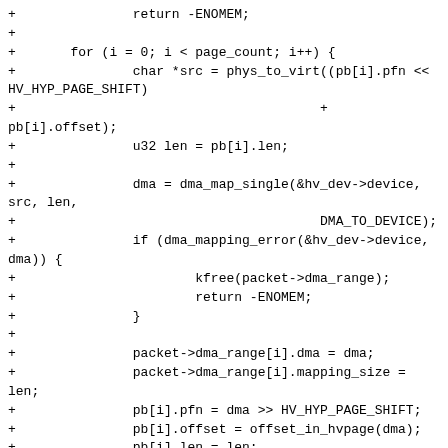[Figure (other): Source code diff showing C code for DMA mapping in netvsc driver]